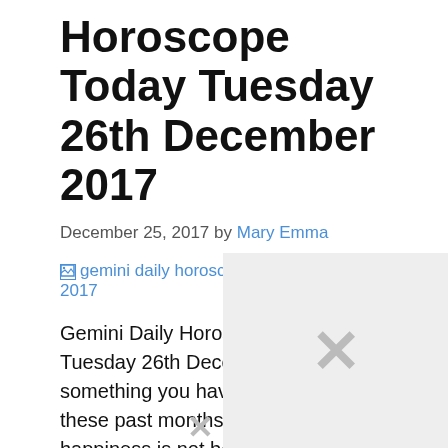Horoscope Today Tuesday 26th December 2017
December 25, 2017 by Mary Emma
[Figure (other): Broken image placeholder with alt text: gemini daily horoscope 26th december 2017]
Gemini Daily Horoscope Today Tuesday 26th December 2017 If something you have learned during these past months, Gemini, is that happiness is not bought, it comes from within. You will meet certain arrogant people